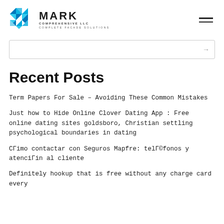MARK COMPREHENSIVE LLC — COMPLETE FACADE SOLUTIONS
Recent Posts
Term Papers For Sale – Avoiding These Common Mistakes
Just how to Hide Online Clover Dating App : Free online dating sites goldsboro, Christian settling psychological boundaries in dating
СГimo contactar con Seguros Mapfre: telГ©fonos y atenciГin al cliente
Definitely hookup that is free without any charge card every